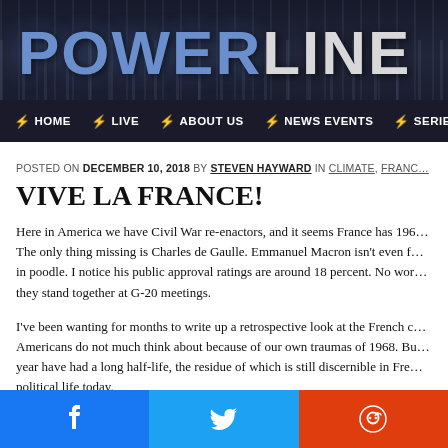POWERLINE
HOME  LIVE  ABOUT US  NEWS EVENTS  SERIES
POSTED ON DECEMBER 10, 2018 BY STEVEN HAYWARD IN CLIMATE, FRANC…
VIVE LA FRANCE!
Here in America we have Civil War re-enactors, and it seems France has 196… The only thing missing is Charles de Gaulle. Emmanuel Macron isn't even f… in poodle. I notice his public approval ratings are around 18 percent. No wor… they stand together at G-20 meetings.
I've been wanting for months to write up a retrospective look at the French d… Americans do not much think about because of our own traumas of 1968. Bu… year have had a long half-life, the residue of which is still discernible in Fre… political life today.
[Figure (infographic): Social share buttons: Facebook (blue), Twitter (light blue), Reddit (orange-red)]